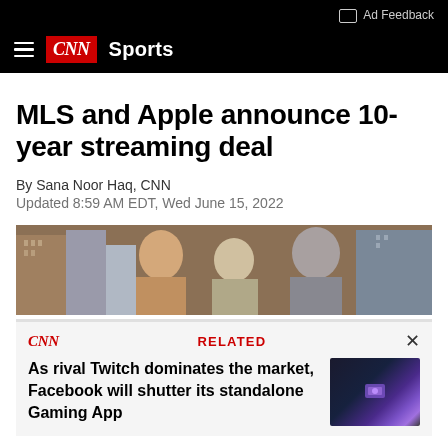Ad Feedback
CNN Sports
MLS and Apple announce 10-year streaming deal
By Sana Noor Haq, CNN
Updated 8:59 AM EDT, Wed June 15, 2022
[Figure (photo): Three men standing outdoors in front of city buildings]
CNN  RELATED  ×
As rival Twitch dominates the market, Facebook will shutter its standalone Gaming App